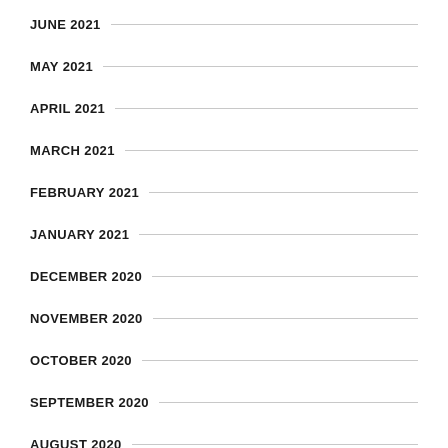JUNE 2021
MAY 2021
APRIL 2021
MARCH 2021
FEBRUARY 2021
JANUARY 2021
DECEMBER 2020
NOVEMBER 2020
OCTOBER 2020
SEPTEMBER 2020
AUGUST 2020